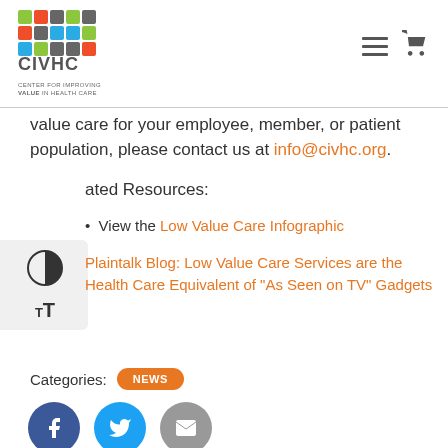[Figure (logo): CIVHC logo - colorful grid of squares with CIVHC text and tagline CENTER FOR IMPROVING VALUE IN HEALTH CARE]
value care for your employee, member, or patient population, please contact us at info@civhc.org.
ated Resources:
View the Low Value Care Infographic
Plaintalk Blog: Low Value Care Services are the Health Care Equivalent of "As Seen on TV" Gadgets
Categories: NEWS
[Figure (illustration): Social share icons: Facebook (dark blue), Twitter (light blue), Email (grey)]